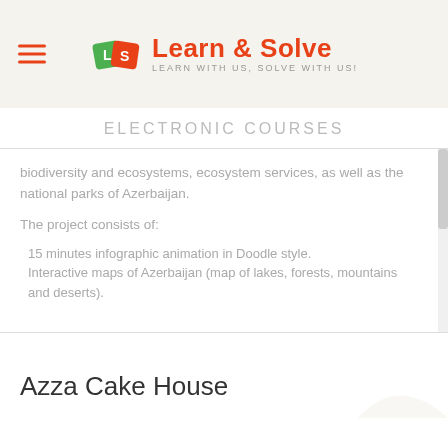Learn & Solve — LEARN WITH US, SOLVE WITH US!
ELECTRONIC COURSES
biodiversity and ecosystems, ecosystem services, as well as the national parks of Azerbaijan.
The project consists of:
15 minutes infographic animation in Doodle style.
Interactive maps of Azerbaijan (map of lakes, forests, mountains and deserts).
Azza Cake House